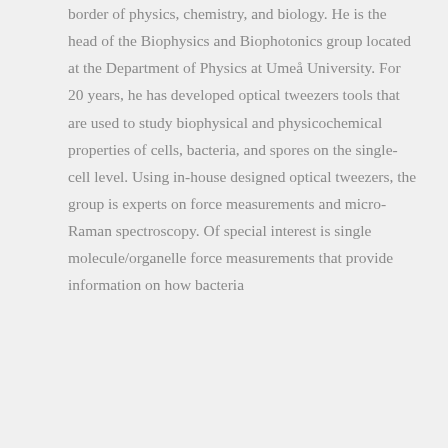border of physics, chemistry, and biology. He is the head of the Biophysics and Biophotonics group located at the Department of Physics at Umeå University. For 20 years, he has developed optical tweezers tools that are used to study biophysical and physicochemical properties of cells, bacteria, and spores on the single-cell level. Using in-house designed optical tweezers, the group is experts on force measurements and micro-Raman spectroscopy. Of special interest is single molecule/organelle force measurements that provide information on how bacteria